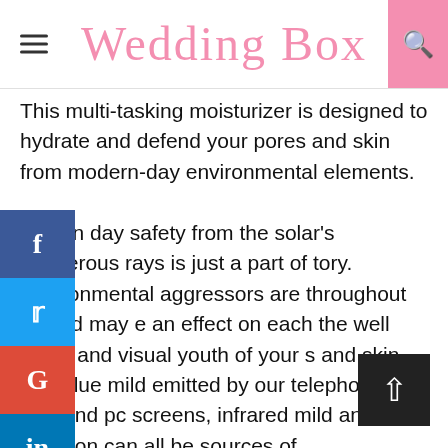Wedding Box
This multi-tasking moisturizer is designed to hydrate and defend your pores and skin from modern-day environmental elements. n day safety from the solar's dangerous rays is just a part of tory. Environmental aggressors are throughout us and may e an effect on each the well being and visual youth of your s and skin. The blue mild emitted by our telephones, TVs and pc screens, infrared mild and air pollution can all be sources of environmentally induced pores and skin harm that may be simply as dangerous. This multi-tasking moisturizer is designed to hydrate the pores and skin and to cut back the harm brought on by environmental aggressors that may additional result in the seen indicators of untimely ageing.